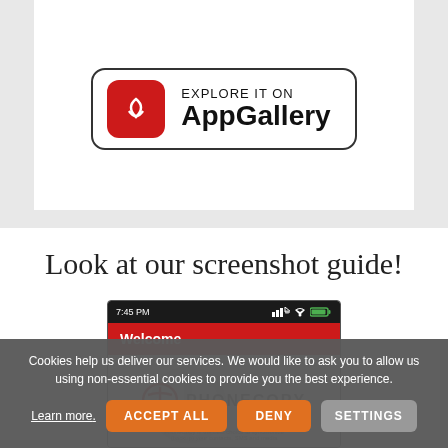[Figure (logo): Huawei AppGallery badge with EXPLORE IT ON AppGallery text and Huawei icon]
Look at our screenshot guide!
[Figure (screenshot): Mobile phone screenshot showing PhoneCopy app welcome screen with red header bar saying Welcome and PhoneCopy logo below]
Cookies help us deliver our services. We would like to ask you to allow us using non-essential cookies to provide you the best experience.
Learn more. ACCEPT ALL DENY SETTINGS